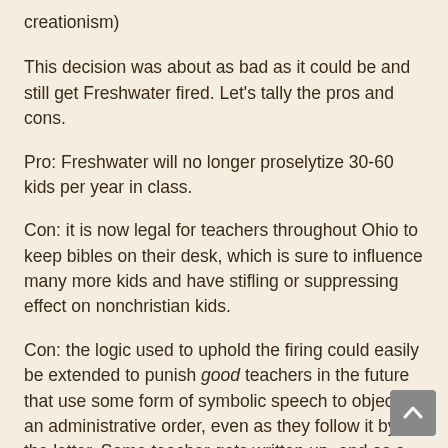creationism)
This decision was about as bad as it could be and still get Freshwater fired. Let's tally the pros and cons.
Pro: Freshwater will no longer proselytize 30-60 kids per year in class.
Con: it is now legal for teachers throughout Ohio to keep bibles on their desk, which is sure to influence many more kids and have stifling or suppressing effect on nonchristian kids.
Con: the logic used to uphold the firing could easily be extended to punish good teachers in the future that use some form of symbolic speech to object to an administrative order, even as they follow it by the letter. Some teacher gets written up, and as a symbolic protest speech they check out an anti-authoritative book and put it on their desk (maybe Nelson Mandela? MLK?). Guess what? That might now be considered insubordination. Because checking out two other books after removing his bible and putting them on his desk was the only event that the judges